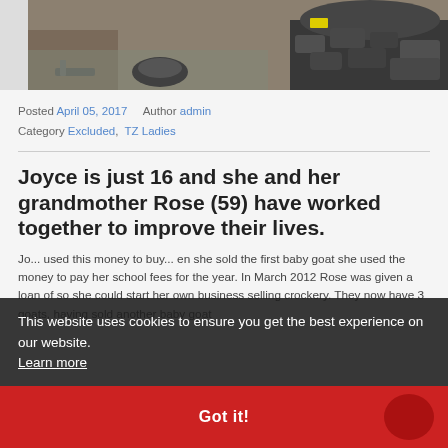[Figure (photo): Bottom portion of a photo showing a person's feet in sandals, rocks/coal pieces on the ground, and a pile of dark coal or charcoal on the right side.]
Posted April 05, 2017   Author admin
Category Excluded,  TZ Ladies
Joyce is just 16 and she and her grandmother Rose (59) have worked together to improve their lives.
Jo... used this money to buy... en she sold the first baby goat she used the money to pay her school fees for the year. In March 2012 Rose was given a loan of so she could start her own business selling crockery. They now have 3 goats, having sold another baby goat
This website uses cookies to ensure you get the best experience on our website. Learn more
Got it!